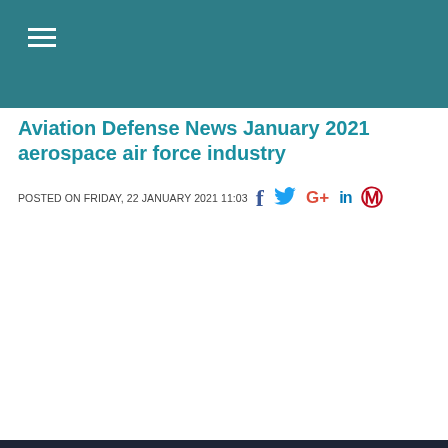≡ (hamburger menu)
Aviation Defense News January 2021 aerospace air force industry
POSTED ON FRIDAY, 22 JANUARY 2021 11:03
Our site Air Recognition uses cookies to perform visit statistics, share content on social networks and improve your experience. By refusing cookies, some services will not function properly. We store your choice for 30 days. You can change your mind by clicking on the 'Cookies' button at the bottom left of every page of our site. Learn more
Settings | Accept all | Refuse all